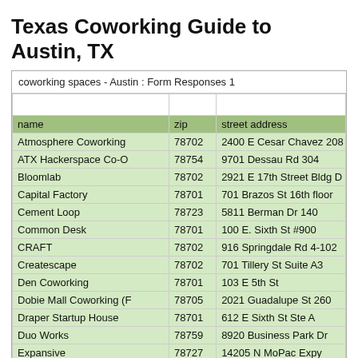Texas Coworking Guide to Austin, TX
| name | zip | street address |
| --- | --- | --- |
| Atmosphere Coworking | 78702 | 2400 E Cesar Chavez 208 |
| ATX Hackerspace Co-O | 78754 | 9701 Dessau Rd 304 |
| Bloomlab | 78702 | 2921 E 17th Street Bldg D |
| Capital Factory | 78701 | 701 Brazos St 16th floor |
| Cement Loop | 78723 | 5811 Berman Dr 140 |
| Common Desk | 78701 | 100 E. Sixth St #900 |
| CRAFT | 78702 | 916 Springdale Rd 4-102 |
| Createscape | 78702 | 701 Tillery St Suite A3 |
| Den Coworking | 78701 | 103 E 5th St |
| Dobie Mall Coworking (F | 78705 | 2021 Guadalupe St 260 |
| Draper Startup House | 78701 | 612 E Sixth St Ste A |
| Duo Works | 78759 | 8920 Business Park Dr |
| Expansive | 78727 | 14205 N MoPac Expy |